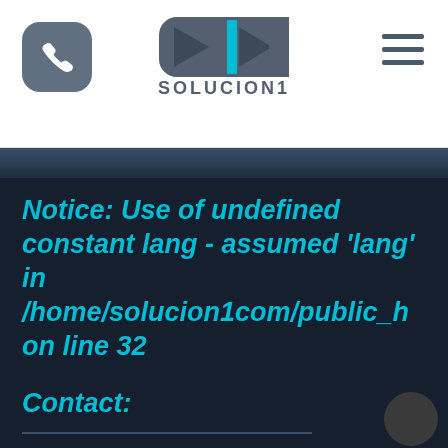SOLUCION1 website header with phone icon, logo, and hamburger menu
[Figure (logo): SOLUCION1 logo: rectangular pill-shaped emblem with two halves, left dark grey and right with cyan vertical stripe, text SOLUCION1 below]
Notice: Use of undefined constant lang - assumed 'lang' in /home/solucion1com/public_h on line 32
Contact: